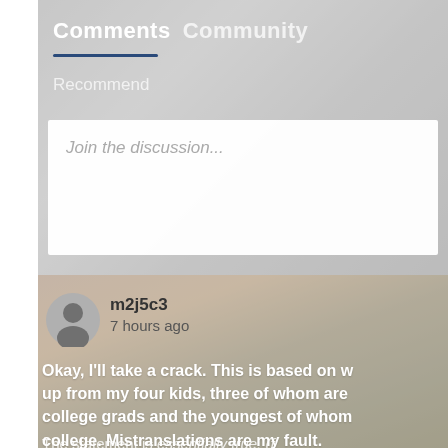Comments  Community
Recommend
Join the discussion...
m2j5c3
7 hours ago
Okay, I'll take a crack. This is based on what I picked up from my four kids, three of whom are college grads and the youngest of whom is in college. Mistranslations are my fault.
The statement is essentially true. (f